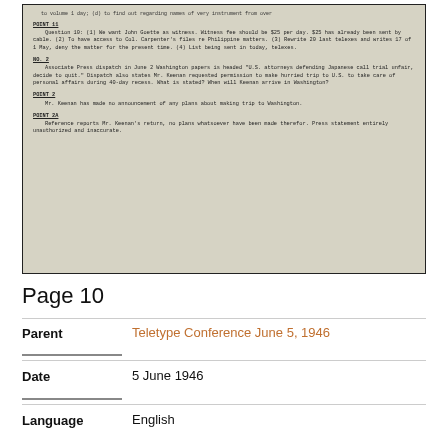[Figure (photo): Scanned typewritten document page showing sections labeled POINT 11, NO. 2, POINT 2, and POINT 2A with typed text about a teletype conference. Content includes references to John Goette as a witness, Philippine matters, Keenan, and Washington.]
Page 10
Parent
Teletype Conference June 5, 1946
Date
5 June 1946
Language
English